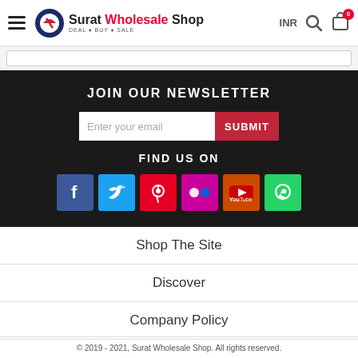Surat Wholesale Shop — DEAL • BUY • SALE — INR
JOIN OUR NEWSLETTER
Enter your email  SUBMIT
FIND US ON
[Figure (infographic): Social media icons: Facebook, Twitter, Pinterest, Flickr, YouTube, WhatsApp]
Shop The Site
Discover
Company Policy
© 2019 - 2021, Surat Wholesale Shop. All rights reserved.